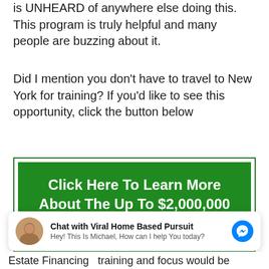is UNHEARD of anywhere else doing this. This program is truly helpful and many people are buzzing about it.
Did I mention you don't have to travel to New York for training? If you'd like to see this opportunity, click the button below
[Figure (other): Green call-to-action button with white bold text reading: Click Here To Learn More About The Up To $2,000,000 Program!]
[Figure (other): Chat widget with avatar photo of Michael, text 'Chat with Viral Home Based Pursuit' and subtext 'Hey! This Is Michael, How can I help You today?' with a Messenger icon]
Estate Financing  training and focus would be